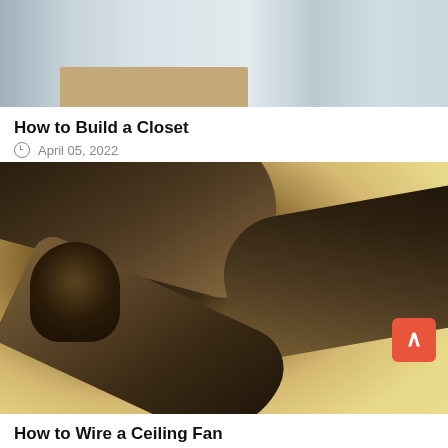[Figure (photo): Blurred photo of a closet interior with white walls and a brown box/shelf at bottom]
How to Build a Closet
April 05, 2022
[Figure (photo): Close-up photo of a ceiling fan with dark brown blades against a yellow/cream colored ceiling]
How to Wire a Ceiling Fan